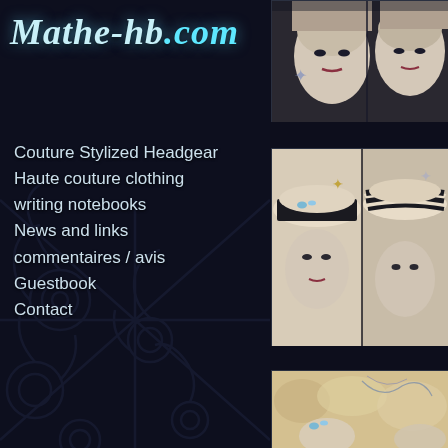Mathe-hb.com
Couture Stylized Headgear
Haute couture clothing
writing notebooks
News and links
commentaires / avis
Guestbook
Contact
[Figure (photo): Mannequin head with hat, close-up, dark background]
[Figure (photo): Two mannequin heads wearing cream and black striped hats with decorative elements]
[Figure (photo): Mannequin wearing a cream/blonde textured hat with blue jewel accents]